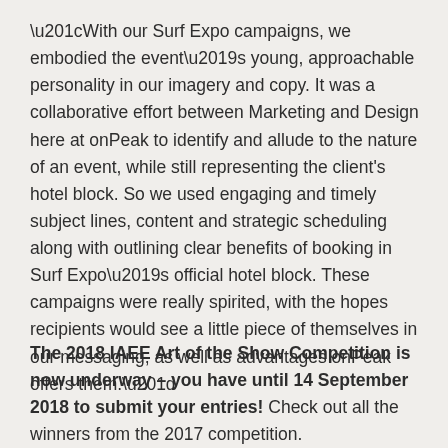“With our Surf Expo campaigns, we embodied the event’s young, approachable personality in our imagery and copy. It was a collaborative effort between Marketing and Design here at onPeak to identify and allude to the nature of an event, while still representing the client's hotel block. So we used engaging and timely subject lines, content and strategic scheduling along with outlining clear benefits of booking in Surf Expo’s official hotel block. These campaigns were really spirited, with the hopes recipients would see a little piece of themselves in our messaging, as well as advantages onPeak offers them.”
The 2018 IAEE Art of the Show Competition is now underway – you have until 14 September 2018 to submit your entries! Check out all the winners from the 2017 competition.